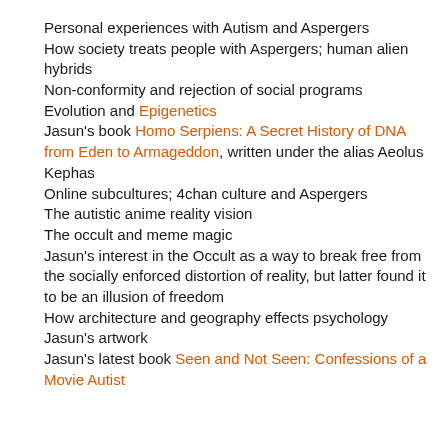Personal experiences with Autism and Aspergers
How society treats people with Aspergers; human alien hybrids
Non-conformity and rejection of social programs
Evolution and Epigenetics
Jasun's book Homo Serpiens: A Secret History of DNA from Eden to Armageddon, written under the alias Aeolus Kephas
Online subcultures; 4chan culture and Aspergers
The autistic anime reality vision
The occult and meme magic
Jasun's interest in the Occult as a way to break free from the socially enforced distortion of reality, but latter found it to be an illusion of freedom
How architecture and geography effects psychology
Jasun's artwork
Jasun's latest book Seen and Not Seen: Confessions of a Movie Autist